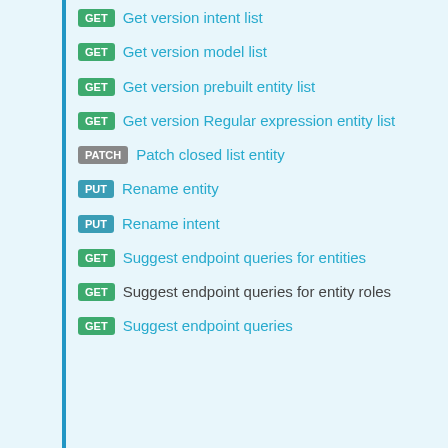GET Get version intent list
GET Get version model list
GET Get version prebuilt entity list
GET Get version Regular expression entity list
PATCH Patch closed list entity
PUT Rename entity
PUT Rename intent
GET Suggest endpoint queries for entities
GET Suggest endpoint queries for entity roles
GET Suggest endpoint queries...